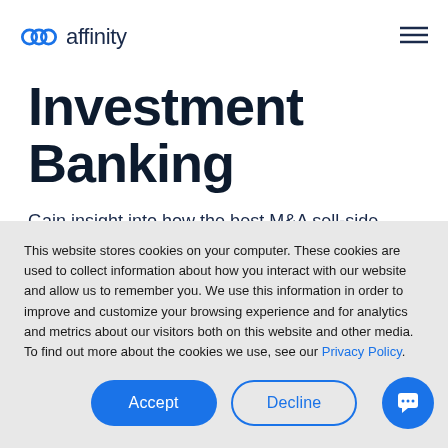affinity
Investment Banking
Gain insight into how the best M&A sell-side banks easily and more efficiently drive deals while making the most of their network
This website stores cookies on your computer. These cookies are used to collect information about how you interact with our website and allow us to remember you. We use this information in order to improve and customize your browsing experience and for analytics and metrics about our visitors both on this website and other media. To find out more about the cookies we use, see our Privacy Policy.
Accept | Decline